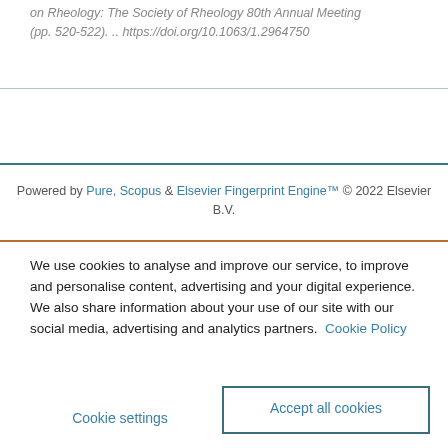on Rheology: The Society of Rheology 80th Annual Meeting (pp. 520-522). .. https://doi.org/10.1063/1.2964750
Powered by Pure, Scopus & Elsevier Fingerprint Engine™ © 2022 Elsevier B.V.
We use cookies to analyse and improve our service, to improve and personalise content, advertising and your digital experience. We also share information about your use of our site with our social media, advertising and analytics partners.  Cookie Policy
Cookie settings
Accept all cookies